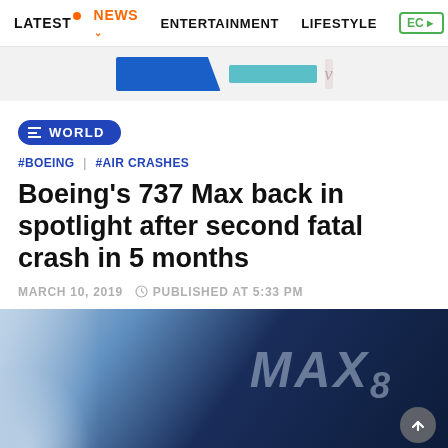LATEST  NEWS  ENTERTAINMENT  LIFESTYLE  EC
[Figure (other): Advertisement banner strip with blue shape, teal bar, and decorative elements]
WORLD
#BOEING | #AIR CRASHES
Boeing's 737 Max back in spotlight after second fatal crash in 5 months
MARCH 10, 2019   PUBLISHED AT 5:33 PM
[Figure (photo): Close-up photo of Boeing 737 MAX 8 aircraft fuselage showing MAX 8 logo in italic text on dark blue body]